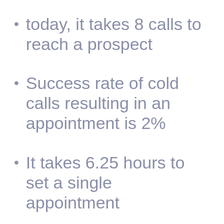today, it takes 8 calls to reach a prospect
Success rate of cold calls resulting in an appointment is 2%
It takes 6.25 hours to set a single appointment
Specializing the salesforce works!